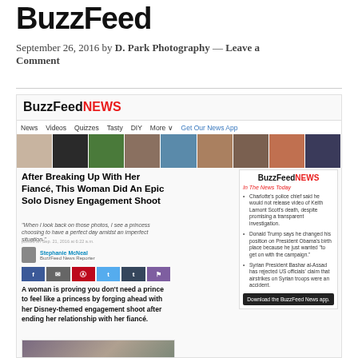BuzzFeed
September 26, 2016 by D. Park Photography — Leave a Comment
[Figure (screenshot): Screenshot of BuzzFeed News article page showing article 'After Breaking Up With Her Fiancé, This Woman Did An Epic Solo Disney Engagement Shoot', with navigation, thumbnail strip, author info, share buttons, article body text, photo, and sidebar with In The News Today items and Download BuzzFeed News App button]
BuzzFeedNEWS screenshot with article and sidebar